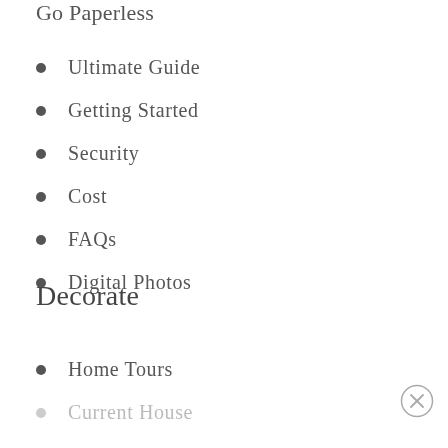Go Paperless
Ultimate Guide
Getting Started
Security
Cost
FAQs
Digital Photos
Decorate
Home Tours
Current House
Townhouse